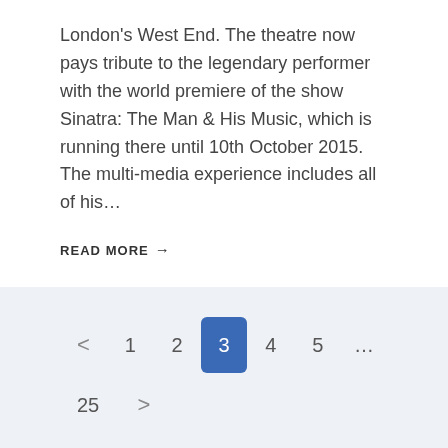London's West End. The theatre now pays tribute to the legendary performer with the world premiere of the show Sinatra: The Man & His Music, which is running there until 10th October 2015. The multi-media experience includes all of his…
READ MORE →
< 1 2 3 4 5 … 25 >